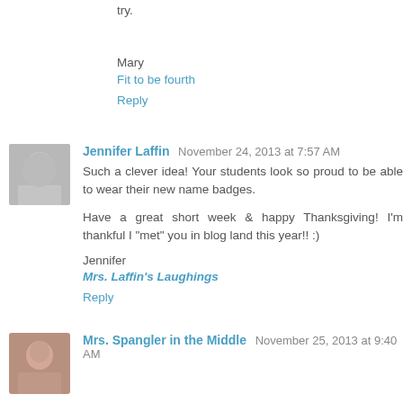try.
Mary
Fit to be fourth
Reply
Jennifer Laffin  November 24, 2013 at 7:57 AM
Such a clever idea! Your students look so proud to be able to wear their new name badges.
Have a great short week & happy Thanksgiving! I'm thankful I "met" you in blog land this year!! :)
Jennifer
Mrs. Laffin's Laughings
Reply
Mrs. Spangler in the Middle  November 25, 2013 at 9:40 AM